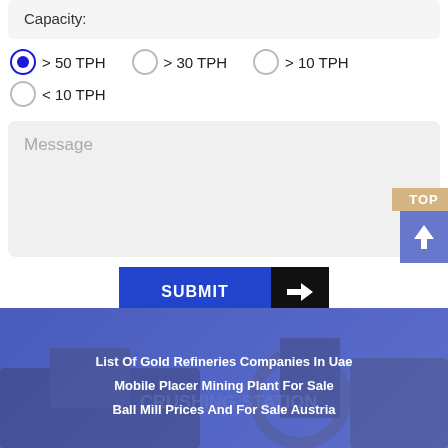Capacity:
> 50 TPH (selected)
> 30 TPH
> 10 TPH
< 10 TPH
Message
SUBMIT
List Of Gold Refineries Companies In Uae
Mobile Placer Mining Plant For Sale
Ball Mill Prices And For Sale Austria